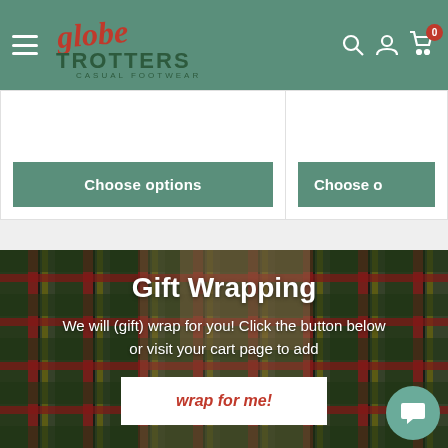Globe Trotters Casual Footwear - Navigation bar with hamburger menu, logo, search, account, and cart icons
Choose options
Choose o
Gift Wrapping
We will (gift) wrap for you! Click the button below or visit your cart page to add
wrap for me!